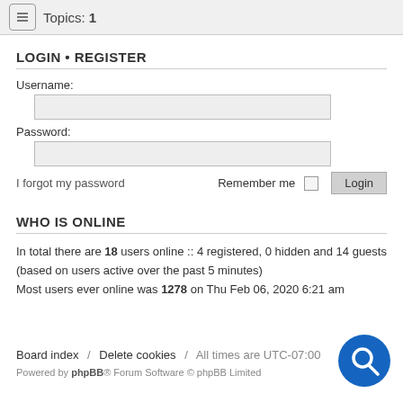Topics: 1
LOGIN • REGISTER
Username:
Password:
I forgot my password    Remember me    Login
WHO IS ONLINE
In total there are 18 users online :: 4 registered, 0 hidden and 14 guests (based on users active over the past 5 minutes)
Most users ever online was 1278 on Thu Feb 06, 2020 6:21 am
Board index / Delete cookies / All times are UTC-07:00
Powered by phpBB® Forum Software © phpBB Limited